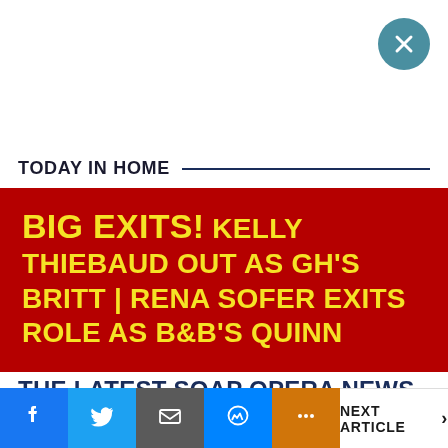[Figure (other): Circular close button with X icon on teal/blue background, top right corner]
TODAY IN HOME
BIG EXITS! KELLY THIEBAUD OUT AS GH'S BRITT | RENA SOFER EXITS ROLE AS B&B'S QUINN
THE LATEST SOAP OPERA NEWS AND HEADLINES FROM SOAP CENTRAL
DAYSLER says to expect more
NEXT ARTICLE >